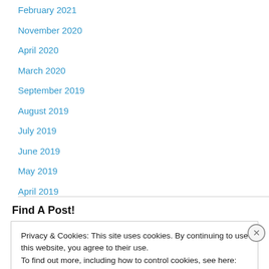February 2021
November 2020
April 2020
March 2020
September 2019
August 2019
July 2019
June 2019
May 2019
April 2019
Find A Post!
Privacy & Cookies: This site uses cookies. By continuing to use this website, you agree to their use.
To find out more, including how to control cookies, see here: Cookie Policy
Close and accept